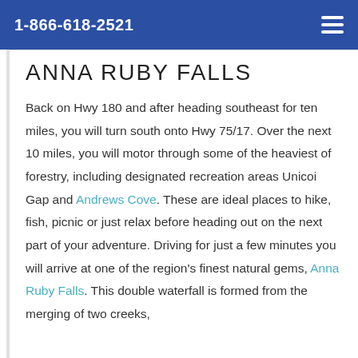1-866-618-2521
ANNA RUBY FALLS
Back on Hwy 180 and after heading southeast for ten miles, you will turn south onto Hwy 75/17. Over the next 10 miles, you will motor through some of the heaviest of forestry, including designated recreation areas Unicoi Gap and Andrews Cove. These are ideal places to hike, fish, picnic or just relax before heading out on the next part of your adventure. Driving for just a few minutes you will arrive at one of the region's finest natural gems, Anna Ruby Falls. This double waterfall is formed from the merging of two creeks,